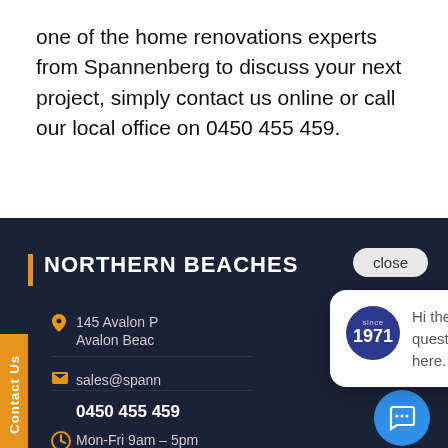one of the home renovations experts from Spannenberg to discuss your next project, simply contact us online or call our local office on 0450 455 459.
NORTHERN BEACHES
close
Contact Us
145 Avalon P
Avalon Beac
sales@spann
0450 455 459
Mon-Fri 9am – 5pm
[Figure (screenshot): Chat popup widget showing a blue circle badge with 'since 1971' text, and a speech bubble saying 'Hi there, have a question? Contact us here.']